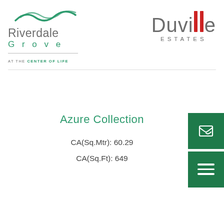[Figure (logo): Riverdale Grove logo with wave icon, company name, and tagline 'AT THE CENTER OF LIFE']
[Figure (logo): Duville Estates logo with stylized red double-bar letter 'l' accent]
Azure Collection
CA(Sq.Mtr): 60.29
CA(Sq.Ft): 649